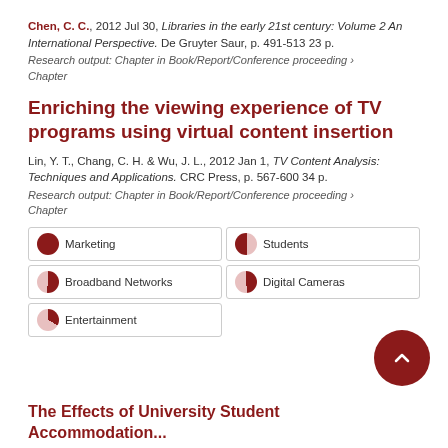Chen, C. C., 2012 Jul 30, Libraries in the early 21st century: Volume 2 An International Perspective. De Gruyter Saur, p. 491-513 23 p.
Research output: Chapter in Book/Report/Conference proceeding › Chapter
Enriching the viewing experience of TV programs using virtual content insertion
Lin, Y. T., Chang, C. H. & Wu, J. L., 2012 Jan 1, TV Content Analysis: Techniques and Applications. CRC Press, p. 567-600 34 p.
Research output: Chapter in Book/Report/Conference proceeding › Chapter
Marketing
Students
Broadband Networks
Digital Cameras
Entertainment
The Effects of University Student Accommodation...